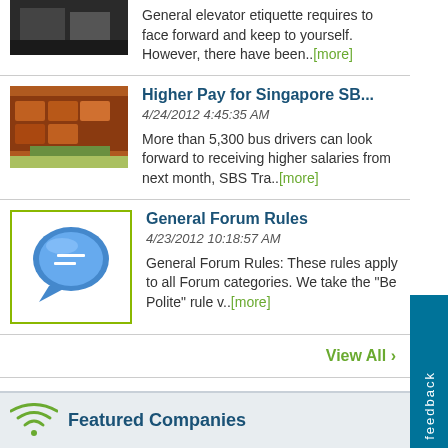[Figure (photo): Partial thumbnail image of a dark scene at top left]
General elevator etiquette requires to face forward and keep to yourself. However, there have been..[more]
[Figure (photo): Thumbnail of Singapore buses]
Higher Pay for Singapore SB...
4/24/2012 4:45:35 AM
More than 5,300 bus drivers can look forward to receiving higher salaries from next month, SBS Tra..[more]
[Figure (illustration): Blue speech bubble icon with white forum symbol]
General Forum Rules
4/23/2012 10:18:57 AM
General Forum Rules: These rules apply to all Forum categories. We take the "Be Polite" rule v..[more]
View All ›
Advertisements
Featured Companies